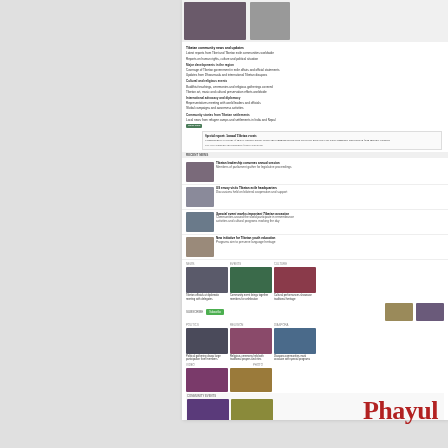[Figure (screenshot): Phayul news website screenshot showing news articles, thumbnail images, and a footer with the Phayul logo in red]
Phayul